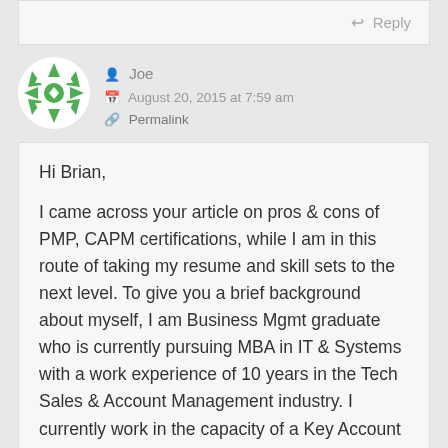Reply
Joe
August 20, 2015 at 7:59 am
Permalink
Hi Brian,

I came across your article on pros & cons of PMP, CAPM certifications, while I am in this route of taking my resume and skill sets to the next level. To give you a brief background about myself, I am Business Mgmt graduate who is currently pursuing MBA in IT & Systems with a work experience of 10 years in the Tech Sales & Account Management industry. I currently work in the capacity of a Key Account Manager with a Software firm based out of India.